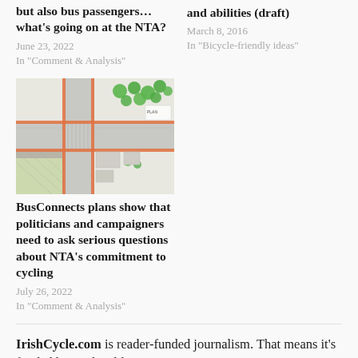but also bus passengers… what's going on at the NTA?
June 23, 2022
In "Comment & Analysis"
and abilities (draft)
March 8, 2016
In "Bicycle-friendly ideas"
[Figure (map): Urban planning map showing road layout with green trees, orange/red cycle paths, gray road surfaces, and hatched areas indicating pedestrian or mixed-use zones.]
BusConnects plans show that politicians and campaigners need to ask serious questions about NTA's commitment to cycling
July 26, 2022
In "Comment & Analysis"
IrishCycle.com is reader-funded journalism. That means it's funded by readers like you.